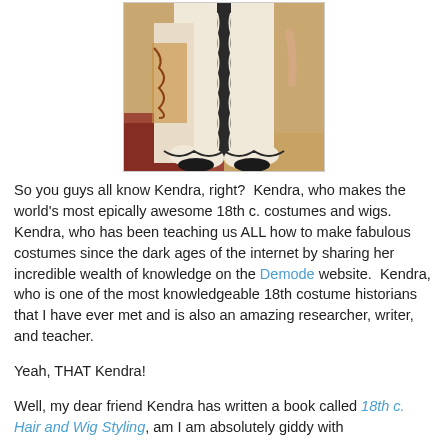[Figure (photo): Photograph of a person wearing a white historical 18th century costume with black trim and decorative details, viewed from approximately waist down, standing on a patterned floor.]
So you guys all know Kendra, right?  Kendra, who makes the world's most epically awesome 18th c. costumes and wigs.  Kendra, who has been teaching us ALL how to make fabulous costumes since the dark ages of the internet by sharing her incredible wealth of knowledge on the Demode website.  Kendra, who is one of the most knowledgeable 18th costume historians that I have ever met and is also an amazing researcher, writer, and teacher.
Yeah, THAT Kendra!
Well, my dear friend Kendra has written a book called 18th c. Hair and Wig Styling, am I am absolutely giddy with